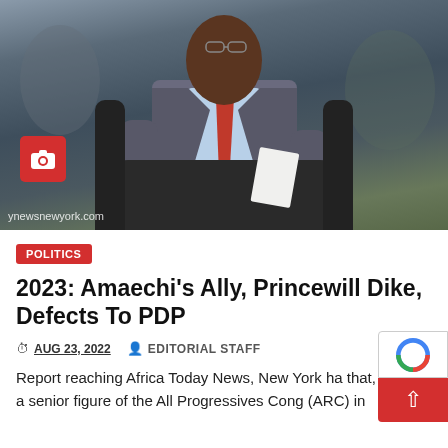[Figure (photo): A man in a grey suit with a red tie seated in a dark chair, looking contemplative. Photo watermark: ynewsnewyork.com. Camera icon overlay in bottom left.]
POLITICS
2023: Amaechi's Ally, Princewill Dike, Defects To PDP
AUG 23, 2022   EDITORIAL STAFF
Report reaching Africa Today News, New York ha that, a senior figure of the All Progressives Cong (ARC) in